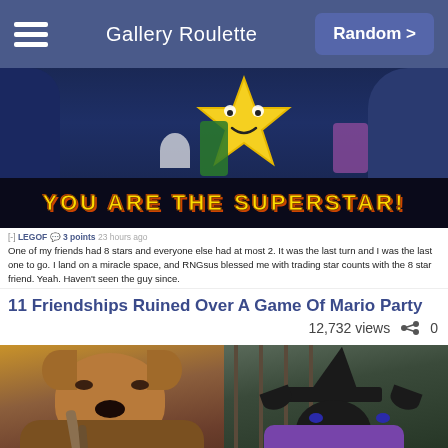Gallery Roulette | Random >
[Figure (screenshot): Mario Party game screenshot showing a yellow star character with the text YOU ARE THE SUPERSTAR! at the bottom, against a dark blue background with Nintendo characters]
[-] LEGOF 3 points 23 hours ago
One of my friends had 8 stars and everyone else had at most 2. It was the last turn and I was the last one to go. I land on a miracle space, and RNGsus blessed me with trading star counts with the 8 star friend. Yeah. Haven't seen the guy since.
11 Friendships Ruined Over A Game Of Mario Party
12,732 views   0
[Figure (photo): Two photos side by side: left shows a fluffy dog dressed in a Chewbacca costume, right shows a black dog dressed as a witch with a purple cape and black hat]